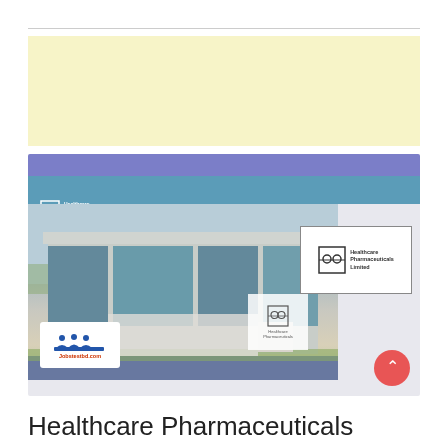[Figure (screenshot): Screenshot of Healthcare Pharmaceuticals Limited website showing building exterior with company logo, overlaid with jobstestbd.com watermark and a scroll-to-top button]
Healthcare Pharmaceuticals